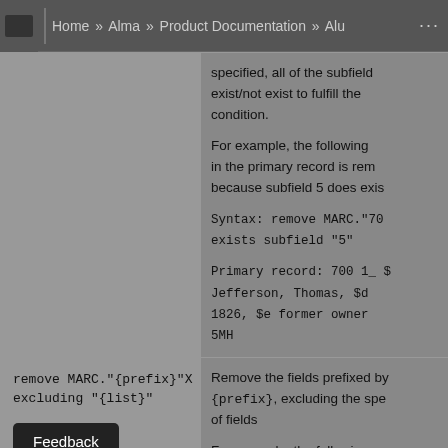Home » Alma » Product Documentation » Alu ...
specified, all of the subfields must exist/not exist to fulfill the condition.

For example, the following ... in the primary record is rem... because subfield 5 does exis...

Syntax: remove MARC."70... exists subfield "5"

Primary record: 700 1_ $... Jefferson, Thomas, $d... 1826, $e former owner... 5MH
remove MARC."{prefix}"X excluding "{list}"
Remove the fields prefixed by {prefix}, excluding the spe... of fields

For example, the following r... all fields between 600...